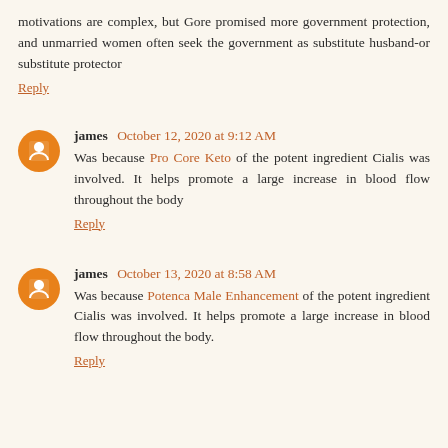motivations are complex, but Gore promised more government protection, and unmarried women often seek the government as substitute husband-or substitute protector
Reply
james  October 12, 2020 at 9:12 AM
Was because Pro Core Keto of the potent ingredient Cialis was involved. It helps promote a large increase in blood flow throughout the body
Reply
james  October 13, 2020 at 8:58 AM
Was because Potenca Male Enhancement of the potent ingredient Cialis was involved. It helps promote a large increase in blood flow throughout the body.
Reply